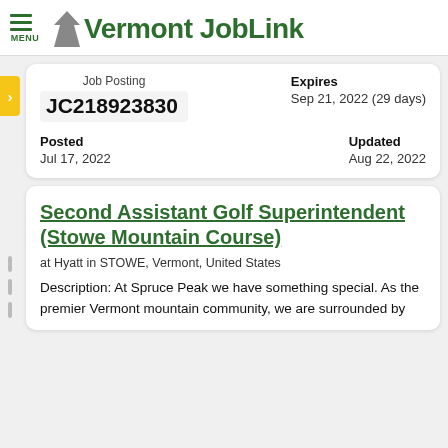Vermont JobLink
| Job Posting | Expires |
| --- | --- |
| JC218923830 | Sep 21, 2022 (29 days) |
| Posted: Jul 17, 2022 | Updated: Aug 22, 2022 |
Second Assistant Golf Superintendent (Stowe Mountain Course)
at Hyatt in STOWE, Vermont, United States
Description: At Spruce Peak we have something special. As the premier Vermont mountain community, we are surrounded by